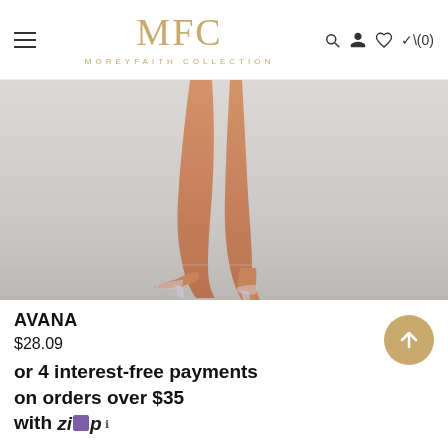MFC MOREYFAITH COLLECTION
[Figure (photo): Close-up photo of a woman's legs wearing clear/transparent high-heel sandals on a light grey/white background]
AVANA
$28.09
or 4 interest-free payments on orders over $35 with Zip ℹ